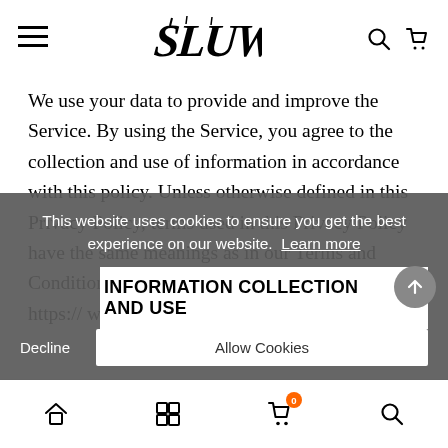SLUW (logo with hamburger, search, cart icons)
We use your data to provide and improve the Service. By using the Service, you agree to the collection and use of information in accordance with this policy. Unless otherwise defined in this Privacy Policy, terms used in this Privacy Policy have the same meanings as in our Terms and Conditions, accessible from https:// www.sluwofficial.com
This website uses cookies to ensure you get the best experience on our website. Learn more
INFORMATION COLLECTION AND USE
Home | Grid | Cart (0) | Search